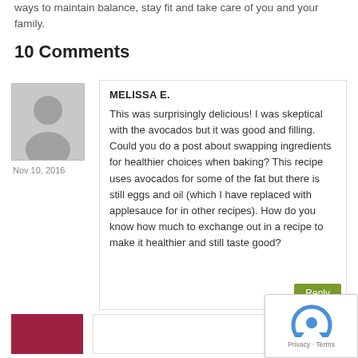ways to maintain balance, stay fit and take care of you and your family.
10 Comments
[Figure (photo): Generic grey avatar placeholder image for user Melissa E.]
Nov 10, 2016
MELISSA E.
This was surprisingly delicious! I was skeptical with the avocados but it was good and filling. Could you do a post about swapping ingredients for healthier choices when baking? This recipe uses avocados for some of the fat but there is still eggs and oil (which I have replaced with applesauce for in other recipes). How do you know how much to exchange out in a recipe to make it healthier and still taste good?